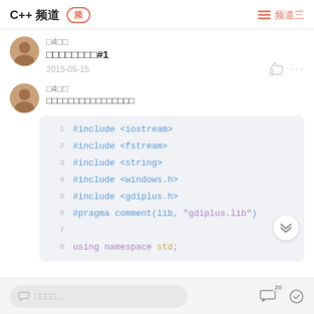C++ 频道 频道三
□4□□
□□□□□□□□#1
2015-05-15
□4□□
□□□□□□□□□□□□□□□□
[Figure (screenshot): Code block showing C++ include directives and pragma comment: #include <iostream>, #include <fstream>, #include <string>, #include <windows.h>, #include <gdiplus.h>, #pragma comment(lib, "gdiplus.lib"), using namespace std;]